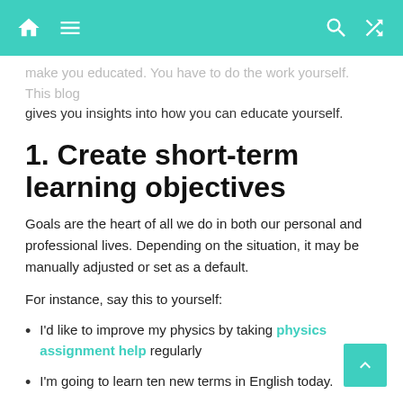Navigation bar with home, menu, search, and shuffle icons
make you educated. You have to do the work yourself. This blog gives you insights into how you can educate yourself.
1. Create short-term learning objectives
Goals are the heart of all we do in both our personal and professional lives. Depending on the situation, it may be manually adjusted or set as a default.
For instance, say this to yourself:
I'd like to improve my physics by taking physics assignment help regularly
I'm going to learn ten new terms in English today.
2. Practice how to focus daily